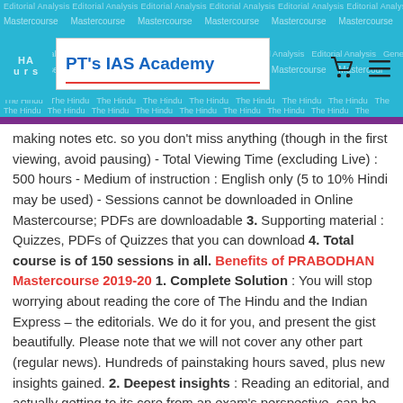PT's IAS Academy
making notes etc. so you don't miss anything (though in the first viewing, avoid pausing) - Total Viewing Time (excluding Live) : 500 hours - Medium of instruction : English only (5 to 10% Hindi may be used) - Sessions cannot be downloaded in Online Mastercourse; PDFs are downloadable 3. Supporting material : Quizzes, PDFs of Quizzes that you can download 4. Total course is of 150 sessions in all. Benefits of PRABODHAN Mastercourse 2019-20 1. Complete Solution : You will stop worrying about reading the core of The Hindu and the Indian Express – the editorials. We do it for you, and present the gist beautifully. Please note that we will not cover any other part (regular news). Hundreds of painstaking hours saved, plus new insights gained. 2. Deepest insights : Reading an editorial, and actually getting to its core from an exam's perspective, can be time consuming. We